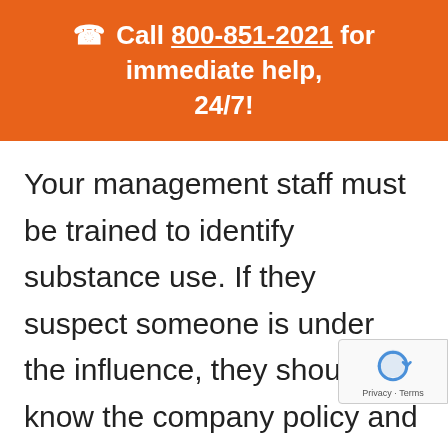☎ Call 800-851-2021 for immediate help, 24/7!
Your management staff must be trained to identify substance use. If they suspect someone is under the influence, they should know the company policy and document everything before approaching that employee. The suspected employee must then report for drug-testing immediately.